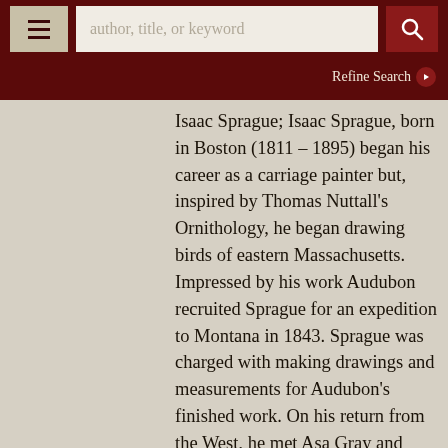author, title, or keyword | Refine Search
Isaac Sprague; Isaac Sprague, born in Boston (1811 – 1895) began his career as a carriage painter but, inspired by Thomas Nuttall's Ornithology, he began drawing birds of eastern Massachusetts. Impressed by his work Audubon recruited Sprague for an expedition to Montana in 1843. Sprague was charged with making drawings and measurements for Audubon's finished work. On his return from the West, he met Asa Gray and began creating illustrations for his publications, including the Manual of Botany (1856). Among Sprague's popular books are Flowers of the Field and Forest and Beautiful Wild Flowers, both of which